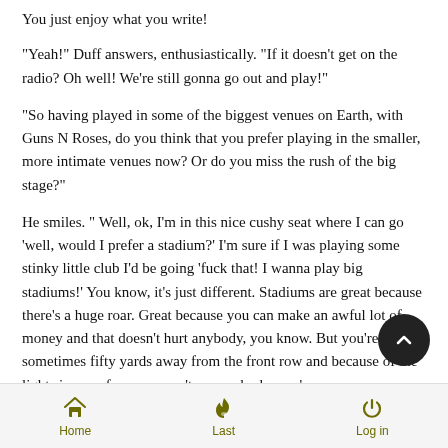You just enjoy what you write!
"Yeah!" Duff answers, enthusiastically. "If it doesn't get on the radio? Oh well! We're still gonna go out and play!"
"So having played in some of the biggest venues on Earth, with Guns N Roses, do you think that you prefer playing in the smaller, more intimate venues now? Or do you miss the rush of the big stage?"
He smiles. " Well, ok, I'm in this nice cushy seat where I can go 'well, would I prefer a stadium?' I'm sure if I was playing some stinky little club I'd be going 'fuck that! I wanna play big stadiums!' You know, it's just different. Stadiums are great because there's a huge roar. Great because you can make an awful lot of money and that doesn't hurt anybody, you know. But you're sometimes fifty yards away from the front row and because of the lights in your face, you can't see anybody, you're...
Home   Last   Log in